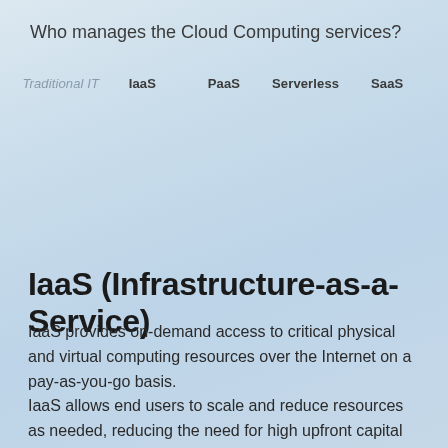Who manages the Cloud Computing services?
[Figure (infographic): Diagram showing columns for Traditional IT, IaaS, PaaS, Serverless, SaaS — who manages each cloud computing service model]
IaaS (Infrastructure-as-a-Service)
IaaS provides on-demand access to critical physical and virtual computing resources over the Internet on a pay-as-you-go basis.
IaaS allows end users to scale and reduce resources as needed, reducing the need for high upfront capital